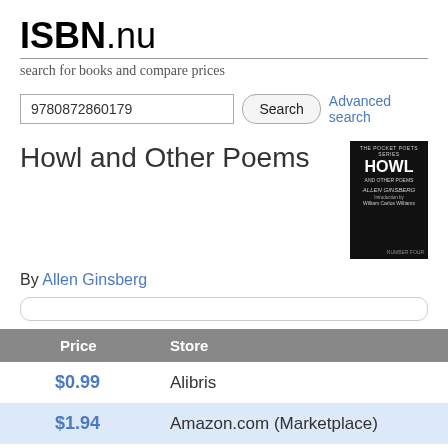ISBN.nu — search for books and compare prices
9780872860179
Howl and Other Poems
By Allen Ginsberg
| Price | Store |
| --- | --- |
| $0.99 | Alibris |
| $1.94 | Amazon.com (Marketplace) |
| $4.59 | AbeBooks.com |